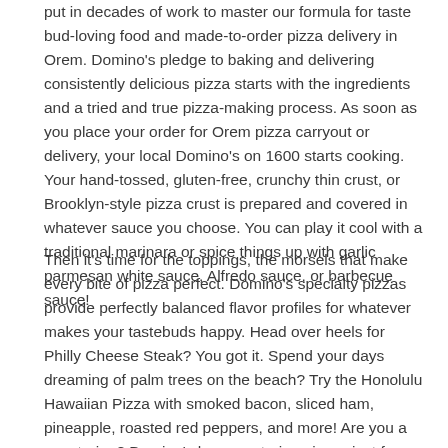put in decades of work to master our formula for taste bud-loving food and made-to-order pizza delivery in Orem. Domino's pledge to baking and delivering consistently delicious pizza starts with the ingredients and a tried and true pizza-making process. As soon as you place your order for Orem pizza carryout or delivery, your local Domino's on 1600 starts cooking. Your hand-tossed, gluten-free, crunchy thin crust, or Brooklyn-style pizza crust is prepared and covered in whatever sauce you choose. You can play it cool with a traditional marinara or spice things up with garlic parmesan white sauce, Alfredo sauce, or barbecue sauce!
Then it's time for the toppings, the morsels that make every bite of pizza perfect. Domino's specialty pizzas provide perfectly balanced flavor profiles for whatever makes your tastebuds happy. Head over heels for Philly Cheese Steak? You got it. Spend your days dreaming of palm trees on the beach? Try the Honolulu Hawaiian Pizza with smoked bacon, sliced ham, pineapple, roasted red peppers, and more! Are you a vegetarian? Domino's has vegetarian pizzas just for you. Order the Pacific Veggie or the Spinach & Feta! Domino's pizzas can be made 34 million different ways (and we've tried them all!), which means there's always a reason to order from Domino's at 572 W 1600 N!